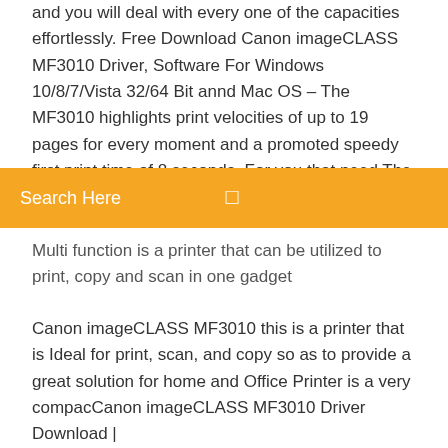and you will deal with every one of the capacities effortlessly. Free Download Canon imageCLASS MF3010 Driver, Software For Windows 10/8/7/Vista 32/64 Bit annd Mac OS – The MF3010 highlights print velocities of up to 19 pages for every moment and a promoted speedy first print time of 8 seconds. For you that need The Cannon imageCLASS MF3010 owners
Search Here
Multi function is a printer that can be utilized to print, copy and scan in one gadget
Canon imageCLASS MF3010 this is a printer that is Ideal for print, scan, and copy so as to provide a great solution for home and Office Printer is a very compacCanon imageCLASS MF3010 Driver Download | Ij.Start.Canonhttps://ijstarts.com/canon-imageclass-mf3010-driver-download.htmlSimply fill guidelines and you will deal with every one of the capacities effortlessly. Free Download Canon imageCLASS MF3010 Driver, Software